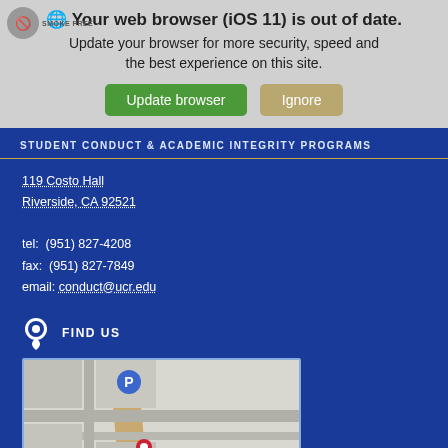[Figure (screenshot): Browser update warning banner with 'Your web browser (iOS 11) is out of date. Update your browser for more security, speed and the best experience on this site.' with Update browser (green) and Ignore (tan) buttons, and a Smoke Free badge top left.]
STUDENT CONDUCT & ACADEMIC INTEGRITY PROGRAMS
119 Costo Hall
Riverside, CA 92521

tel: (951) 827-4208
fax: (951) 827-7849
email: conduct@ucr.edu
FIND US
[Figure (map): Google Maps embed showing campus area around 119 Costo Hall, UC Riverside, with a red map pin marker and a blue parking icon.]
DISCLAIMER